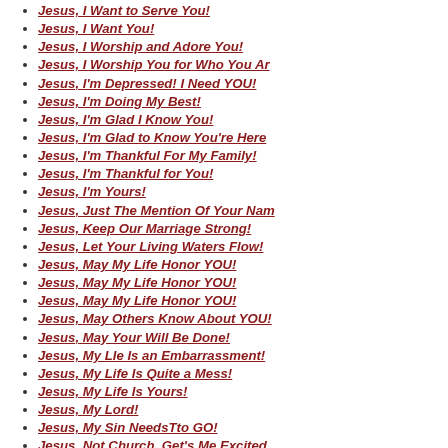Jesus, I Want to Serve You!
Jesus, I Want You!
Jesus, I Worship and Adore You!
Jesus, I Worship You for Who You Ar
Jesus, I'm Depressed! I Need YOU!
Jesus, I'm Doing My Best!
Jesus, I'm Glad I Know You!
Jesus, I'm Glad to Know You're Here
Jesus, I'm Thankful For My Family!
Jesus, I'm Thankful for You!
Jesus, I'm Yours!
Jesus, Just The Mention Of Your Nam
Jesus, Keep Our Marriage Strong!
Jesus, Let Your Living Waters Flow!
Jesus, May My Life Honor YOU!
Jesus, May My Life Honor YOU!
Jesus, May My Life Honor YOU!
Jesus, May Others Know About YOU!
Jesus, May Your Will Be Done!
Jesus, My LIe Is an Embarrassment!
Jesus, My Life Is Quite a Mess!
Jesus, My Life Is Yours!
Jesus, My Lord!
Jesus, My Sin NeedsTto GO!
Jesus, Not Church, Get's Me Excited
Jesus, Please Bless Our Family!
Jesus, Please Bless Our Marriage!
Jesus, Please Change My Life!
Jesus, Please Come and Touch Me
Jesus, Please Come Here Again!